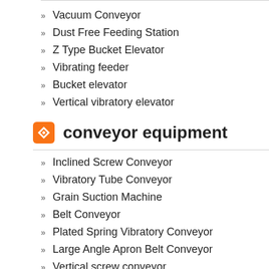Vacuum Conveyor
Dust Free Feeding Station
Z Type Bucket Elevator
Vibrating feeder
Bucket elevator
Vertical vibratory elevator
conveyor equipment
Inclined Screw Conveyor
Vibratory Tube Conveyor
Grain Suction Machine
Belt Conveyor
Plated Spring Vibratory Conveyor
Large Angle Apron Belt Conveyor
Vertical screw conveyor
Vibration table
crushing machine
[Figure (photo): Close-up photo of sandy or granular material surface with a blue online chat button overlay showing Chinese characters 在线咨询]
Generally, the e and ultrasonic mesh 325 scree keeps surfac
Xinxia ultraso